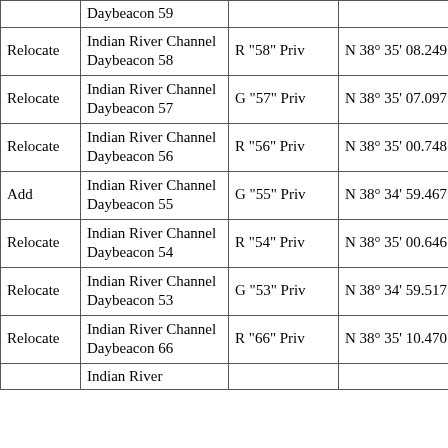| Action | Name | Light/Label | Position Lat | Position Lon |
| --- | --- | --- | --- | --- |
|  | Daybeacon 59 |  |  |  |
| Relocate | Indian River Channel Daybeacon 58 | R "58" Priv | N 38° 35' 08.249" | W 07... |
| Relocate | Indian River Channel Daybeacon 57 | G "57" Priv | N 38° 35' 07.097" | W 07... |
| Relocate | Indian River Channel Daybeacon 56 | R "56" Priv | N 38° 35' 00.748" | W 07... |
| Add | Indian River Channel Daybeacon 55 | G "55" Priv | N 38° 34' 59.467" | W 07... |
| Relocate | Indian River Channel Daybeacon 54 | R "54" Priv | N 38° 35' 00.646" | W 07... |
| Relocate | Indian River Channel Daybeacon 53 | G "53" Priv | N 38° 34' 59.517" | W 07... |
| Relocate | Indian River Channel Daybeacon 66 | R "66" Priv | N 38° 35' 10.470" | W 07... |
|  | Indian River... |  |  |  |